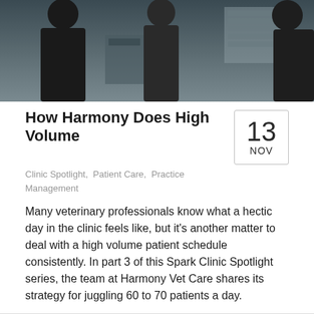[Figure (photo): Dark photo showing people in a veterinary clinic setting, partially visible at top of page]
How Harmony Does High Volume
Clinic Spotlight, Patient Care, Practice Management
Many veterinary professionals know what a hectic day in the clinic feels like, but it's another matter to deal with a high volume patient schedule consistently. In part 3 of this Spark Clinic Spotlight series, the team at Harmony Vet Care shares its strategy for juggling 60 to 70 patients a day.
Read more ▸